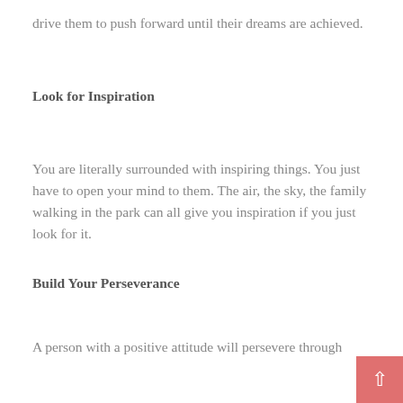drive them to push forward until their dreams are achieved.
Look for Inspiration
You are literally surrounded with inspiring things. You just have to open your mind to them. The air, the sky, the family walking in the park can all give you inspiration if you just look for it.
Build Your Perseverance
A person with a positive attitude will persevere through